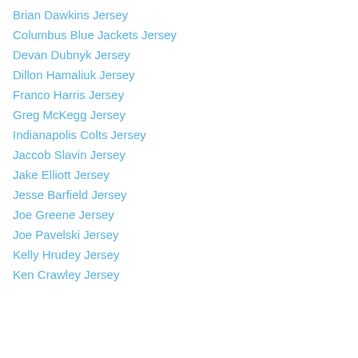Brian Dawkins Jersey
Columbus Blue Jackets Jersey
Devan Dubnyk Jersey
Dillon Hamaliuk Jersey
Franco Harris Jersey
Greg McKegg Jersey
Indianapolis Colts Jersey
Jaccob Slavin Jersey
Jake Elliott Jersey
Jesse Barfield Jersey
Joe Greene Jersey
Joe Pavelski Jersey
Kelly Hrudey Jersey
Ken Crawley Jersey